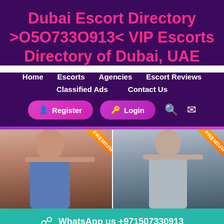Dubai Escort Directory >O5O733O913< VIP Escorts Directory of Dubai, UAE
Home
Escorts
Agencies
Escort Reviews
Classified Ads
Contact Us
Register  Login
[Figure (photo): Two female photos side by side, each with an orange PREMIUM diagonal banner in the top-right corner]
WhatsApp us +971507330913